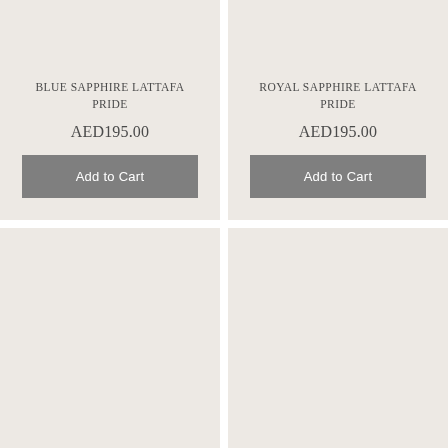BLUE SAPPHIRE LATTAFA PRIDE
AED195.00
Add to Cart
ROYAL SAPPHIRE LATTAFA PRIDE
AED195.00
Add to Cart